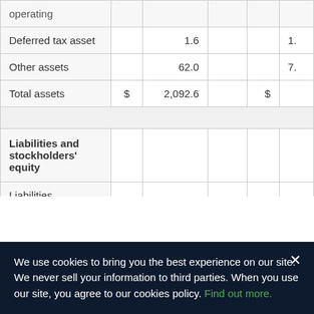|  | $ | 2,092.6 |  | $ |  |
| --- | --- | --- | --- | --- | --- |
| operating |  |  |  |  |  |
| Deferred tax asset | 1.6 |  |  |  | 1. |
| Other assets | 62.0 |  |  |  | 7. |
| Total assets | $ | 2,092.6 |  | $ |  |
|  |  |  |  |  |  |
| Liabilities and stockholders' equity |  |  |  |  |  |
| Liabilities |  |  |  |  |  |
We use cookies to bring you the best experience on our site. We never sell your information to third parties. When you use our site, you agree to our cookies policy. Find out more.